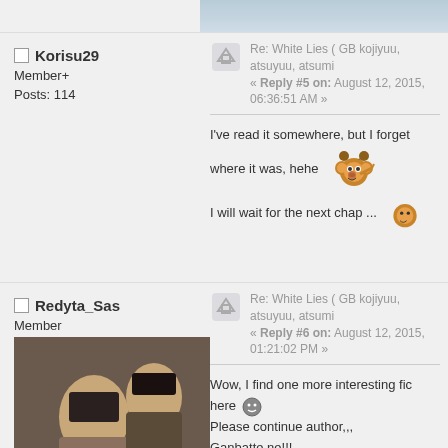[Figure (photo): Partial top image strip, appears to be a photo]
Korisu29
Member+
Posts: 114
Re: White Lies ( GB kojiyuu, atsuyuu, atsumi... « Reply #5 on: August 12, 2015, 06:36:51 AM »
I've read it somewhere, but I forget where it was, hehe
I will wait for the next chap ...
Redyta_Sas
Member
[Figure (photo): Profile photo of two young women]
Posts: 46
Re: White Lies ( GB kojiyuu, atsuyuu, atsumi... « Reply #6 on: August 12, 2015, 01:21:02 PM »
Wow, I find one more interesting fic here
Please continue author,,,
Ganbatte ne!!!
I'M SORRY FOR MY BAD ENGLISH!!!!!